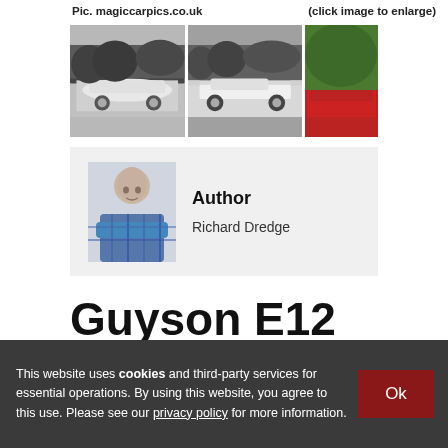Pic. magiccarpics.co.uk	(click image to enlarge)
[Figure (photo): Three car photos in a row: leftmost shows a silver open-top sports car (colour photo), middle shows a white/grey sports coupe in black and white, right shows a red sports car partially visible.]
[Figure (photo): Author photo: bald man with arms crossed wearing a blue plaid shirt, against a light background.]
Author
Richard Dredge
Guyson E12
This website uses cookies and third-party services for essential operations. By using this website, you agree to this use. Please see our privacy policy for more information.